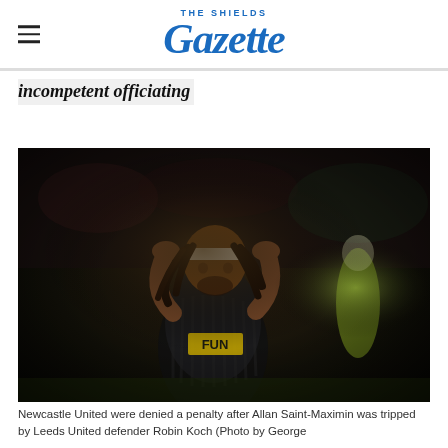THE SHIELDS Gazette
incompetent officiating
[Figure (photo): A Newcastle United player wearing a black and yellow kit, hands placed behind his head in frustration, with a blurred stadium background and a goalkeeper in yellow visible in the background.]
Newcastle United were denied a penalty after Allan Saint-Maximin was tripped by Leeds United defender Robin Koch (Photo by George